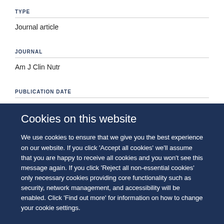TYPE
Journal article
JOURNAL
Am J Clin Nutr
PUBLICATION DATE
Cookies on this website
We use cookies to ensure that we give you the best experience on our website. If you click 'Accept all cookies' we'll assume that you are happy to receive all cookies and you won't see this message again. If you click 'Reject all non-essential cookies' only necessary cookies providing core functionality such as security, network management, and accessibility will be enabled. Click 'Find out more' for information on how to change your cookie settings.